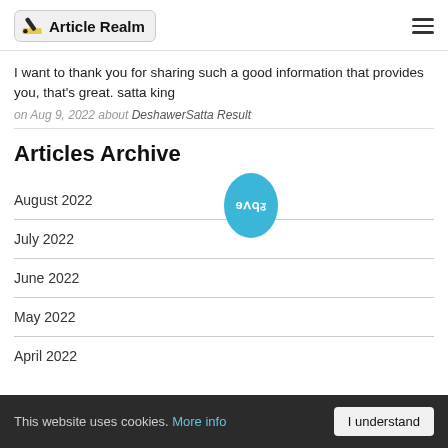Article Realm
I want to thank you for sharing such a good information that provides you, that's great. satta king
on Aug 9, 2022 about DeshawerSatta Result
Articles Archive
August 2022
July 2022
June 2022
May 2022
April 2022
This website uses cookies. More info  I understand